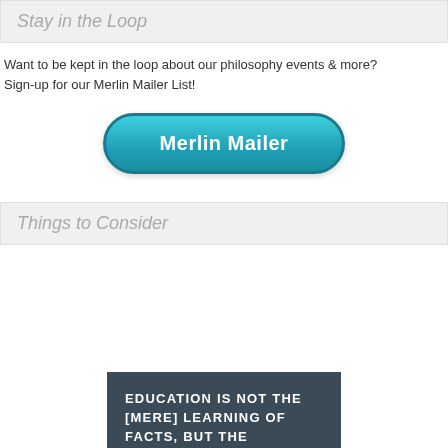Stay in the Loop
Want to be kept in the loop about our philosophy events & more? Sign-up for our Merlin Mailer List!
[Figure (other): Teal rounded button labeled 'Merlin Mailer']
Things to Consider
[Figure (other): Dark grey/slate box with white uppercase text: EDUCATION IS NOT THE [MERE] LEARNING OF FACTS, BUT THE TRAINING OF THE MIND TO THINK.]